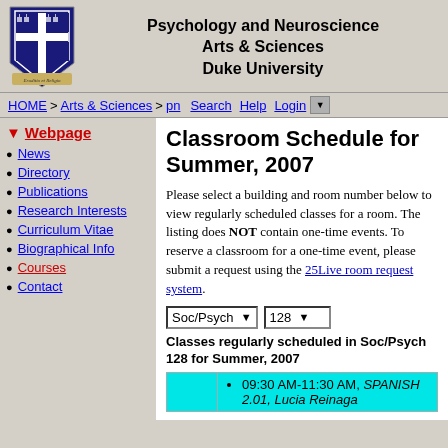Psychology and Neuroscience Arts & Sciences Duke University
[Figure (logo): Duke University shield logo with blue background]
HOME > Arts & Sciences > pn    Search Help Login
Webpage
News
Directory
Publications
Research Interests
Curriculum Vitae
Biographical Info
Courses
Contact
Classroom Schedule for Summer, 2007
Please select a building and room number below to view regularly scheduled classes for a room. The listing does NOT contain one-time events. To reserve a classroom for a one-time event, please submit a request using the 25Live room request system.
Classes regularly scheduled in Soc/Psych 128 for Summer, 2007
09:30 AM-11:30 AM, SPANISH 2.01, Lucia Reinaga